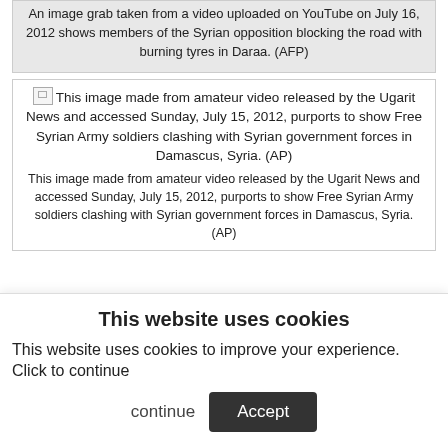An image grab taken from a video uploaded on YouTube on July 16, 2012 shows members of the Syrian opposition blocking the road with burning tyres in Daraa. (AFP)
[Figure (photo): Broken image icon followed by caption text: This image made from amateur video released by the Ugarit News and accessed Sunday, July 15, 2012, purports to show Free Syrian Army soldiers clashing with Syrian government forces in Damascus, Syria. (AP)]
This image made from amateur video released by the Ugarit News and accessed Sunday, July 15, 2012, purports to show Free Syrian Army soldiers clashing with Syrian government forces in Damascus, Syria. (AP)
This website uses cookies
This website uses cookies to improve your experience. Click to continue